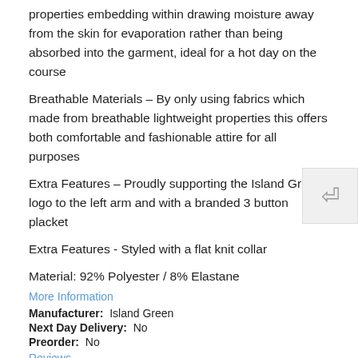properties embedding within drawing moisture away from the skin for evaporation rather than being absorbed into the garment, ideal for a hot day on the course
Breathable Materials – By only using fabrics which made from breathable lightweight properties this offers both comfortable and fashionable attire for all purposes
Extra Features – Proudly supporting the Island Green logo to the left arm and with a branded 3 button placket
Extra Features - Styled with a flat knit collar
Material: 92% Polyester / 8% Elastane
More Information
Manufacturer:  Island Green
Next Day Delivery:  No
Preorder:  No
Reviews
YOU'RE REVIEWING:
ISLAND GREEN ESSENTIALS SUBLIMATED POLO SHIRT -